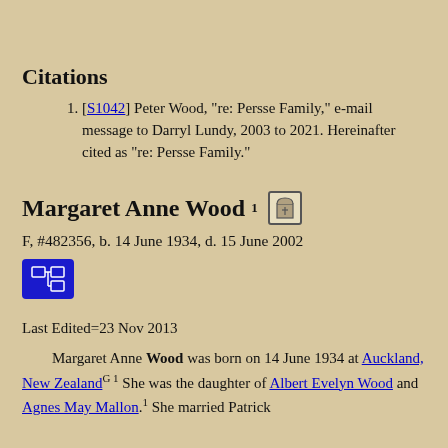Citations
[S1042] Peter Wood, "re: Persse Family," e-mail message to Darryl Lundy, 2003 to 2021. Hereinafter cited as "re: Persse Family."
Margaret Anne Wood1
F, #482356, b. 14 June 1934, d. 15 June 2002
Last Edited=23 Nov 2013
Margaret Anne Wood was born on 14 June 1934 at Auckland, New ZealandG.1 She was the daughter of Albert Evelyn Wood and Agnes May Mallon.1 She married Patrick